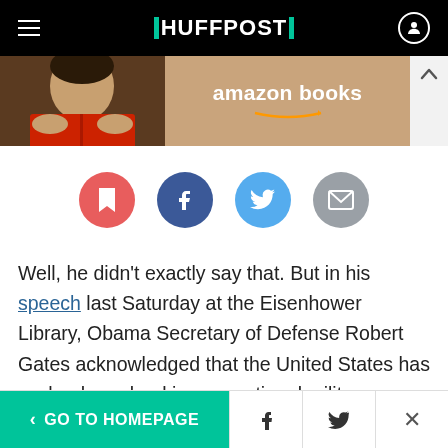HUFFPOST
[Figure (photo): Amazon Books advertisement banner with person reading a book]
[Figure (infographic): Social sharing buttons: bookmark (red), Facebook (dark blue), Twitter (light blue), email (gray)]
Well, he didn't exactly say that. But in his speech last Saturday at the Eisenhower Library, Obama Secretary of Defense Robert Gates acknowledged that the United States has such a huge lead in conventional military power that we can afford to do without a few ships here, a few planes there (and many more if we follow Gates's
< GO TO HOMEPAGE